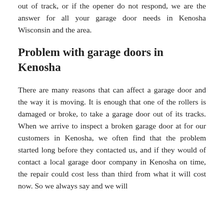out of track, or if the opener do not respond, we are the answer for all your garage door needs in Kenosha Wisconsin and the area.
Problem with garage doors in Kenosha
There are many reasons that can affect a garage door and the way it is moving. It is enough that one of the rollers is damaged or broke, to take a garage door out of its tracks. When we arrive to inspect a broken garage door at for our customers in Kenosha, we often find that the problem started long before they contacted us, and if they would of contact a local garage door company in Kenosha on time, the repair could cost less than third from what it will cost now. So we always say and we will